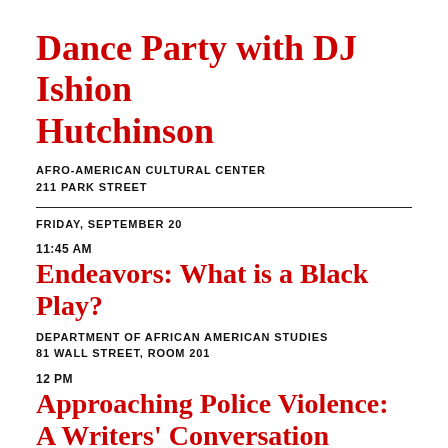Dance Party with DJ Ishion Hutchinson
AFRO-AMERICAN CULTURAL CENTER
211 PARK STREET
FRIDAY, SEPTEMBER 20
11:45 AM
Endeavors: What is a Black Play?
DEPARTMENT OF AFRICAN AMERICAN STUDIES
81 WALL STREET, ROOM 201
12 PM
Approaching Police Violence: A Writers' Conversation
NEW HAVEN FREE PUBLIC LIBRARY (ENTER LOWER LEVEL ON TEMPLE STREET)
133 ELM STREET